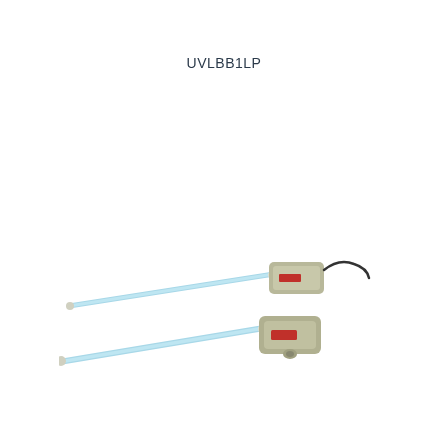UVLBB1LP
[Figure (photo): Two UV lamp assemblies (UVLBB1LP) shown at an angle. Each unit consists of a compact rectangular grey housing/ballast with a red label, connected to a long thin blue UV germicidal lamp tube extending diagonally to the left. One unit has a black power cord visible. The two units are stacked slightly offset from each other.]